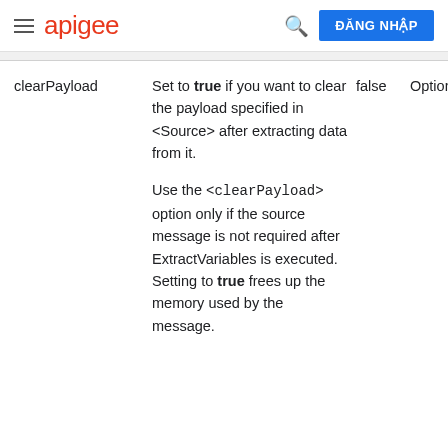apigee — ĐĂNG NHẬP
| Name | Description | Default | Presence | Type |
| --- | --- | --- | --- | --- |
| clearPayload | Set to true if you want to clear the payload specified in <Source> after extracting data from it.

Use the <clearPayload> option only if the source message is not required after ExtractVariables is executed. Setting to true frees up the memory used by the message. | false | Optional | Boole… |